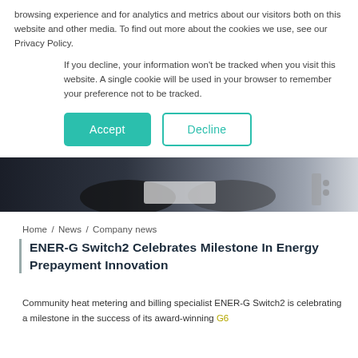browsing experience and for analytics and metrics about our visitors both on this website and other media. To find out more about the cookies we use, see our Privacy Policy.
If you decline, your information won't be tracked when you visit this website. A single cookie will be used in your browser to remember your preference not to be tracked.
[Figure (screenshot): Accept and Decline cookie consent buttons]
[Figure (photo): Hero image showing hands exchanging documents, dark to light gradient]
Home / News / Company news
ENER-G Switch2 Celebrates Milestone In Energy Prepayment Innovation
Community heat metering and billing specialist ENER-G Switch2 is celebrating a milestone in the success of its award-winning G6